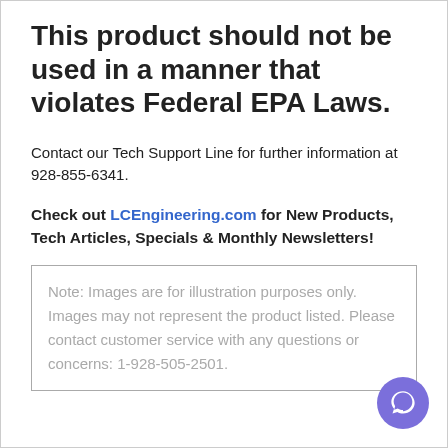This product should not be used in a manner that violates Federal EPA Laws.
Contact our Tech Support Line for further information at 928-855-6341.
Check out LCEngineering.com for New Products, Tech Articles, Specials & Monthly Newsletters!
Note: Images are for illustration purposes only. Images may not represent the product listed. Please contact customer service with any questions or concerns: 1-928-505-2501.